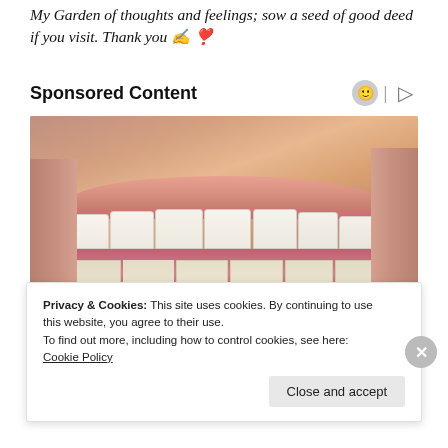My Garden of thoughts and feelings; sow a seed of good deed if you visit. Thank you ✍️ ❣️
Sponsored Content
[Figure (photo): Close-up photo of a person smiling showing white teeth, with dental veneer samples held underneath for comparison. Fingers visible on both sides holding the mouth open.]
Privacy & Cookies: This site uses cookies. By continuing to use this website, you agree to their use.
To find out more, including how to control cookies, see here: Cookie Policy
Close and accept